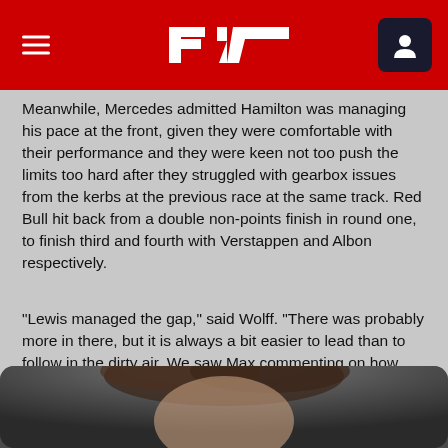F1 Header Navigation
Meanwhile, Mercedes admitted Hamilton was managing his pace at the front, given they were comfortable with their performance and they were keen not too push the limits too hard after they struggled with gearbox issues from the kerbs at the previous race at the same track. Red Bull hit back from a double non-points finish in round one, to finish third and fourth with Verstappen and Albon respectively.
“Lewis managed the gap,” said Wolff. “There was probably more in there, but it is always a bit easier to lead than to follow in the dirty air. We saw Max commenting on how difficult it was to follow. Lewis had the same to say when lapping cars.
[Figure (photo): Partial photo of a person, visible from chin/jaw level upward, shown at bottom of page]